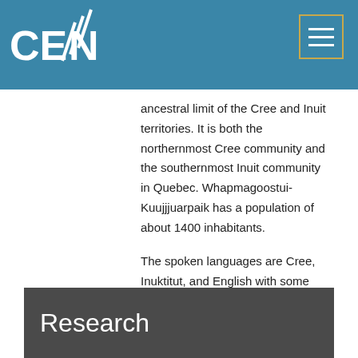CEN logo and navigation
ancestral limit of the Cree and Inuit territories. It is both the northernmost Cree community and the southernmost Inuit community in Quebec. Whapmagoostui-Kuujjjuarpaik has a population of about 1400 inhabitants.

The spoken languages are Cree, Inuktitut, and English with some French. Much work on the social dimensions has been conducted over time. Rapid social, economic, and environmental change initiated in the mid-20th century continues to this day.
Research